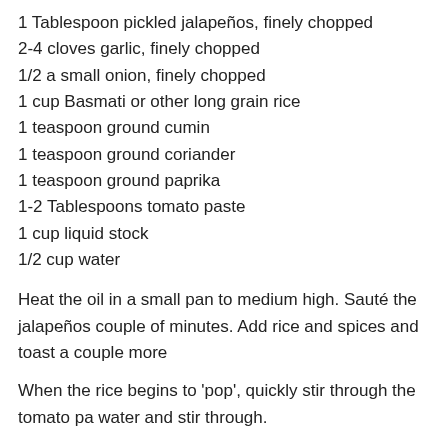1 Tablespoon pickled jalapeños, finely chopped
2-4 cloves garlic, finely chopped
1/2 a small onion, finely chopped
1 cup Basmati or other long grain rice
1 teaspoon ground cumin
1 teaspoon ground coriander
1 teaspoon ground paprika
1-2 Tablespoons tomato paste
1 cup liquid stock
1/2 cup water
Heat the oil in a small pan to medium high. Sauté the jalapeños couple of minutes. Add rice and spices and toast a couple more
When the rice begins to 'pop', quickly stir through the tomato pa water and stir through.
Put the lid on and turn the heat as low as it goes. Simmer 15 to bottom of the rice a little is encouraged. I generally turn off the h just let the rice sit for 5 to 10 minutes. Serve with black beans